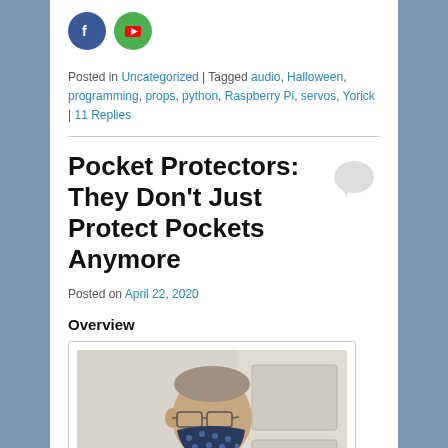[Figure (logo): Social media share buttons: Facebook (blue circle with f) and YouTube/share (green circle with play icon)]
Posted in Uncategorized | Tagged audio, Halloween, programming, props, python, Raspberry Pi, servos, Yorick | 11 Replies
Pocket Protectors: They Don't Just Protect Pockets Anymore
Posted on April 22, 2020
Overview
[Figure (photo): Photo of a person wearing a dark blue patterned face mask, with glasses and gray-brown hair, wearing a plaid shirt, photographed from the shoulders up in front of a white door.]